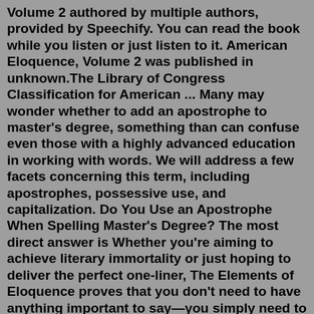Volume 2 authored by multiple authors, provided by Speechify. You can read the book while you listen or just listen to it. American Eloquence, Volume 2 was published in unknown.The Library of Congress Classification for American ... Many may wonder whether to add an apostrophe to master's degree, something than can confuse even those with a highly advanced education in working with words. We will address a few facets concerning this term, including apostrophes, possessive use, and capitalization. Do You Use an Apostrophe When Spelling Master's Degree? The most direct answer is Whether you're aiming to achieve literary immortality or just hoping to deliver the perfect one-liner, The Elements of Eloquence proves that you don't need to have anything important to say—you simply need to say it well. In an age unhealthily obsessed with the power of substance, this is a book that highlights the importance of style. AddeddateBooks, Art, Eloquence. Ralph Waldo Emerson. James R. Osgood, 1877 - Art - History of Doctrine. Design a citation. All rights